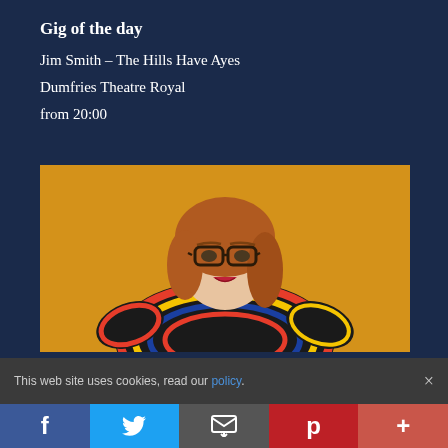Gig of the day
Jim Smith – The Hills Have Ayes
Dumfries Theatre Royal
from 20:00
[Figure (photo): Woman with red hair and glasses wearing a colorful swirling pattern dress, hands on hips, against a yellow/golden background]
This web site uses cookies, read our policy.
Social share buttons: Facebook, Twitter, Email, Pinterest, More